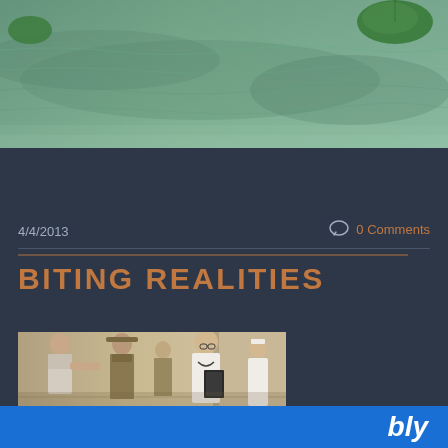[Figure (photo): Top portion of a photograph showing water with lily pads, teal/green tones]
4/4/2013
0 Comments
BITING REALITIES
[Figure (photo): Scene of people in a hospital or medical setting - a doctor in white coat with stethoscope and clipboard being approached by several others including a person in military-style uniform]
bly